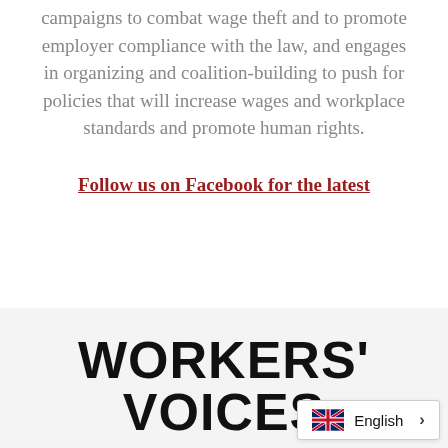campaigns to combat wage theft and to promote employer compliance with the law, and engages in organizing and coalition-building to push for policies that will increase wages and workplace standards and promote human rights.
Follow us on Facebook for the latest
WORKERS' VOICES